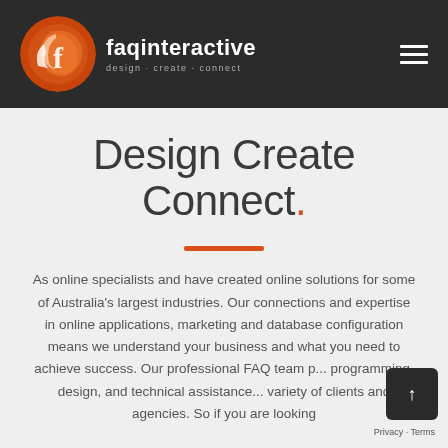[Figure (logo): faqinteractive logo: orange circular icon with swirl design, white text 'faqinteractive' and tagline 'design · create · connect' on dark background header]
Design Create Connect.
As online specialists and have created online solutions for some of Australia's largest industries. Our connections and expertise in online applications, marketing and database configuration means we understand your business and what you need to achieve success. Our professional FAQ team p... programming, design, and technical assistance... variety of clients and agencies. So if you are looking